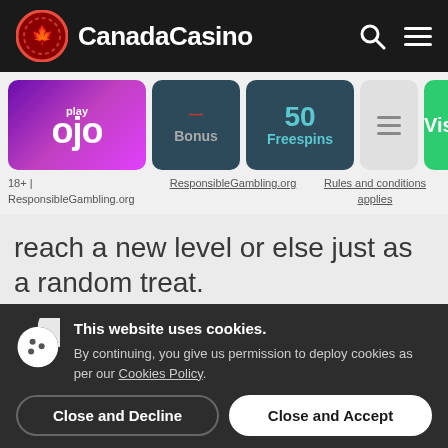CanadaCasino
[Figure (screenshot): PlayOJO casino card with logo, Bonus, 50 Freespins, menu icon, and Visit button]
18+ | ResponsibleGambling.org   ResponsibleGambling.org   Rules and conditions applies
reach a new level or else just as a random treat.
All prizes are paid in cash with no wagering requirements.
This website uses cookies. By continuing, you give us permission to deploy cookies as per our Cookies Policy.
Close and Decline   Close and Accept